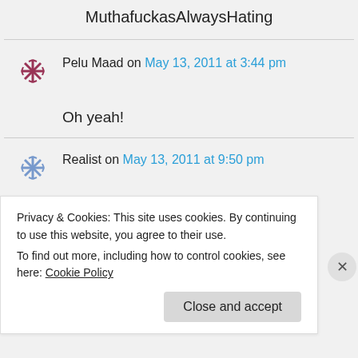MuthafuckasAlwaysHating
Pelu Maad on May 13, 2011 at 3:44 pm
Oh yeah!
Realist on May 13, 2011 at 9:50 pm
Privacy & Cookies: This site uses cookies. By continuing to use this website, you agree to their use.
To find out more, including how to control cookies, see here: Cookie Policy
Close and accept